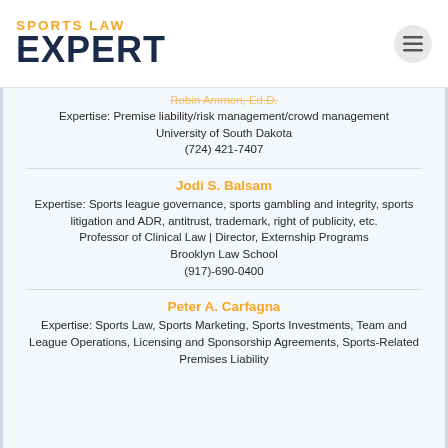SPORTS LAW EXPERT
Robin Ammon, Ed.D.
Expertise: Premise liability/risk management/crowd management
University of South Dakota
(724) 421-7407
Jodi S. Balsam
Expertise: Sports league governance, sports gambling and integrity, sports litigation and ADR, antitrust, trademark, right of publicity, etc.
Professor of Clinical Law | Director, Externship Programs
Brooklyn Law School
(917)-690-0400
Peter A. Carfagna
Expertise: Sports Law, Sports Marketing, Sports Investments, Team and League Operations, Licensing and Sponsorship Agreements, Sports-Related Premises Liability